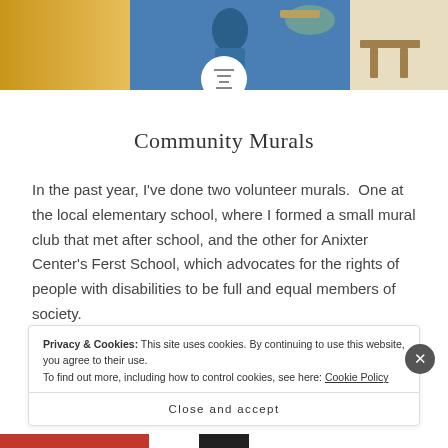[Figure (illustration): Top banner showing a mural painting with warm colors, a figure in blue, and abstract background elements.]
Community Murals
In the past year, I've done two volunteer murals. One at the local elementary school, where I formed a small mural club that met after school, and the other for Anixter Center's Ferst School, which advocates for the rights of people with disabilities to be full and equal members of society.
Privacy & Cookies: This site uses cookies. By continuing to use this website, you agree to their use.
To find out more, including how to control cookies, see here: Cookie Policy
Close and accept